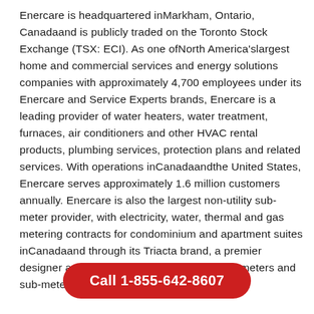Enercare is headquartered inMarkham, Ontario, Canadaand is publicly traded on the Toronto Stock Exchange (TSX: ECI). As one ofNorth America'slargest home and commercial services and energy solutions companies with approximately 4,700 employees under its Enercare and Service Experts brands, Enercare is a leading provider of water heaters, water treatment, furnaces, air conditioners and other HVAC rental products, plumbing services, protection plans and related services. With operations inCanadaandthe United States, Enercare serves approximately 1.6 million customers annually. Enercare is also the largest non-utility sub-meter provider, with electricity, water, thermal and gas metering contracts for condominium and apartment suites inCanadaand through its Triacta brand, a premier designer and manufacturer of advanced sub-meters and sub-metering solutions.
Call 1-855-642-8607